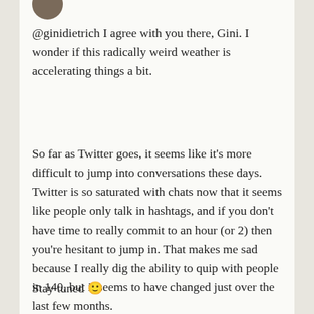[Figure (photo): Partial avatar/profile photo at top of card]
@ginidietrich I agree with you there, Gini. I wonder if this radically weird weather is accelerating things a bit.
So far as Twitter goes, it seems like it’s more difficult to jump into conversations these days. Twitter is so saturated with chats now that it seems like people only talk in hashtags, and if you don’t have time to really commit to an hour (or 2) then you’re hesitant to jump in. That makes me sad because I really dig the ability to quip with people in 140, but it seems to have changed just over the last few months.
Stay tuned 🙂